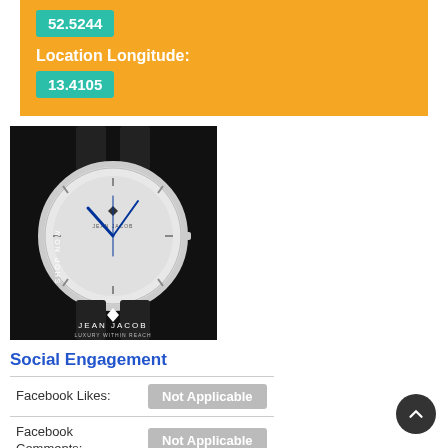52.5244
Location Longitude:
13.4105
[Figure (photo): Jean Jacob luxury watch advertisement showing a minimalist watch with white/grey dial, blue hands, black strap. Text reads JEAN JACOB LUXURY WITHIN REACH and SHOP NOW on the left side.]
Social Engagement
| Facebook Likes: | Not Applicable |
| Facebook Comments: | Not Applicable |